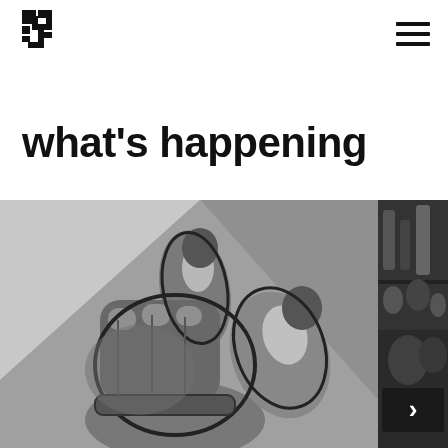[Figure (logo): Blocky abstract black logo mark resembling stacked rectangular forms]
[Figure (illustration): Grayscale illustration of stylized cartoon hands gripping something, drawn in animated/comic style]
[Figure (photo): Partial black and white photo visible on the right edge, showing blurred bar or venue scene]
what's happening